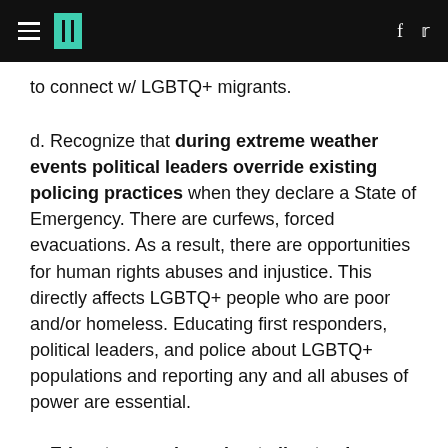HuffPost
to connect w/ LGBTQ+ migrants.
d. Recognize that during extreme weather events political leaders override existing policing practices when they declare a State of Emergency. There are curfews, forced evacuations. As a result, there are opportunities for human rights abuses and injustice. This directly affects LGBTQ+ people who are poor and/or homeless. Educating first responders, political leaders, and police about LGBTQ+ populations and reporting any and all abuses of power are essential.
e. Educate ourselves about climate change as